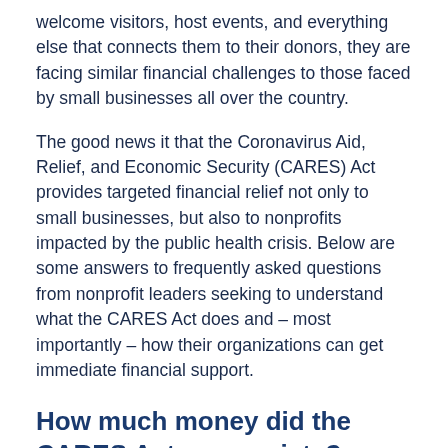welcome visitors, host events, and everything else that connects them to their donors, they are facing similar financial challenges to those faced by small businesses all over the country.
The good news it that the Coronavirus Aid, Relief, and Economic Security (CARES) Act provides targeted financial relief not only to small businesses, but also to nonprofits impacted by the public health crisis. Below are some answers to frequently asked questions from nonprofit leaders seeking to understand what the CARES Act does and – most importantly – how their organizations can get immediate financial support.
How much money did the CARES Act appropriate?
The total package is much larger, but for our